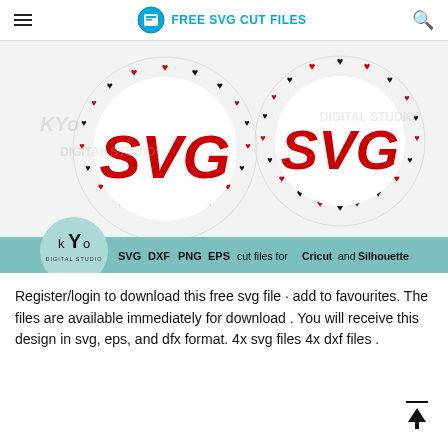FREE SVG CUT FILES
[Figure (illustration): Two circular monogram frames decorated with hearts (one with red and black hearts, one with black and red hearts), each containing the text 'SVG' in red. Watermark text 'KYO DIGITAL STUDIO' appears multiple times. A teal banner at the bottom reads: SVG DXF PNG EPS cut files for Cricut and Silhouette. KYo Digital Studio logo badge on the left.]
Register/login to download this free svg file · add to favourites. The files are available immediately for download . You will receive this design in svg, eps, and dfx format. 4x svg files 4x dxf files .